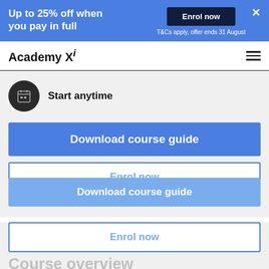Up to 25% off when you pay in full
Enrol now
T&Cs apply, offer ends 31 August
Academy Xi
Start anytime
Download course guide
Enrol now
Download course guide
Enrol now
Course overview